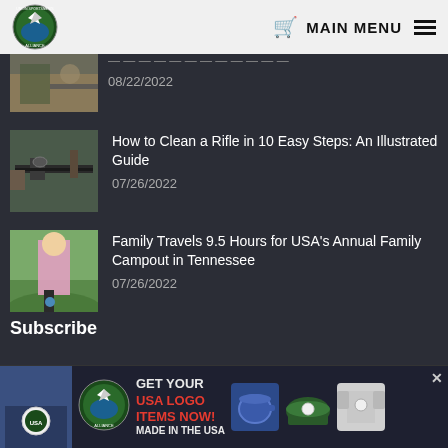Union Sportsmen's Alliance — MAIN MENU
[Figure (photo): Partial article thumbnail showing hunting/outdoors scene]
08/22/2022
[Figure (photo): Rifle with scope on a surface]
How to Clean a Rifle in 10 Easy Steps: An Illustrated Guide
07/26/2022
[Figure (photo): Young blonde girl in pink shirt holding a blue stick outdoors]
Family Travels 9.5 Hours for USA's Annual Family Campout in Tennessee
07/26/2022
Subscribe
[Figure (infographic): Advertisement banner: GET YOUR USA LOGO ITEMS NOW! MADE IN THE USA — showing Union Sportsmen's Alliance logo, mug, hat, and t-shirt]